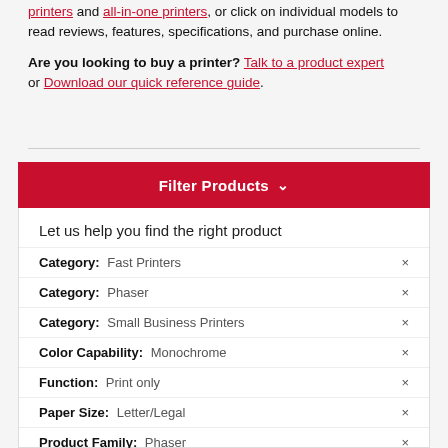printers and all-in-one printers, or click on individual models to read reviews, features, specifications, and purchase online.
Are you looking to buy a printer? Talk to a product expert or Download our quick reference guide.
Filter Products ∨
Let us help you find the right product
Category: Fast Printers
Category: Phaser
Category: Small Business Printers
Color Capability: Monochrome
Function: Print only
Paper Size: Letter/Legal
Product Family: Phaser